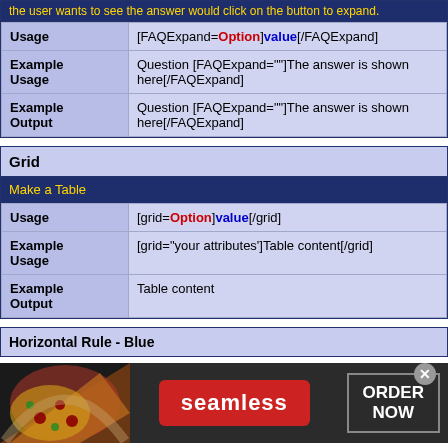|  |  |
| --- | --- |
| Usage | [FAQExpand=Option]value[/FAQExpand] |
| Example Usage | Question [FAQExpand=""]The answer is shown here[/FAQExpand] |
| Example Output | Question [FAQExpand=""]The answer is shown here[/FAQExpand] |
Grid
Make a Table
|  |  |
| --- | --- |
| Usage | [grid=Option]value[/grid] |
| Example Usage | [grid="your attributes']Table content[/grid] |
| Example Output | Table content |
Horizontal Rule - Blue
[Figure (photo): Seamless food delivery advertisement banner with pizza image, Seamless logo button, and ORDER NOW button with close X]